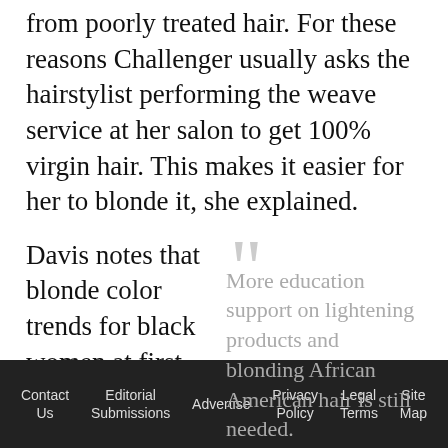from poorly treated hair. For these reasons Challenger usually asks the hairstylist performing the weave service at her salon to get 100% virgin hair. This makes it easier for her to blonde it, she explained.
Davis notes that blonde color trends for black women at first were about contrast. This has changed.
More education support on lightening products and blonding African American hair is still needed.
“In this season right now, we are seeing hair as being less of an
Contact Us   Editorial Submissions   Advertise   Privacy Policy   Legal Terms   Site Map